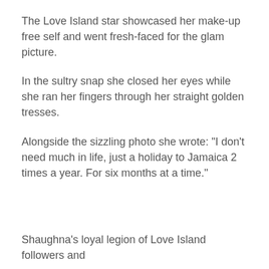The Love Island star showcased her make-up free self and went fresh-faced for the glam picture.
In the sultry snap she closed her eyes while she ran her fingers through her straight golden tresses.
Alongside the sizzling photo she wrote: "I don't need much in life, just a holiday to Jamaica 2 times a year. For six months at a time."
Shaughna's loyal legion of Love Island followers and